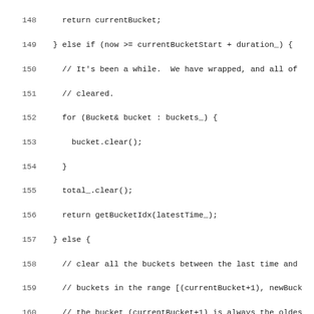[Figure (screenshot): Source code listing in C++ showing lines 148-179, implementing bucket management logic for a BucketedTimeSeries class, displayed in monospace font with line numbers.]